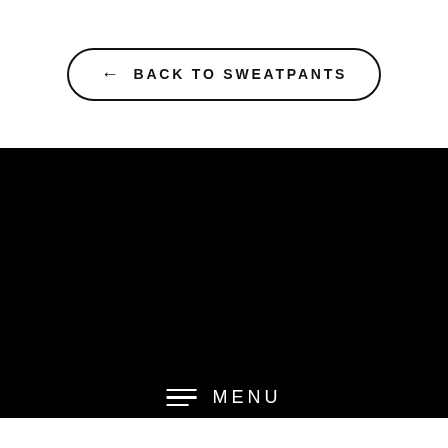← BACK TO SWEATPANTS
[Figure (screenshot): Large black rectangle representing a dark image or video area]
≡ MENU